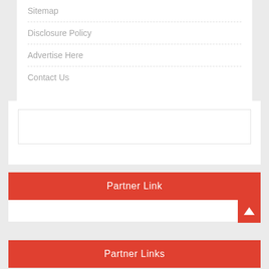Sitemap
Disclosure Policy
Advertise Here
Contact Us
[Figure (other): Empty white box / advertisement placeholder]
Partner Link
Partner Links